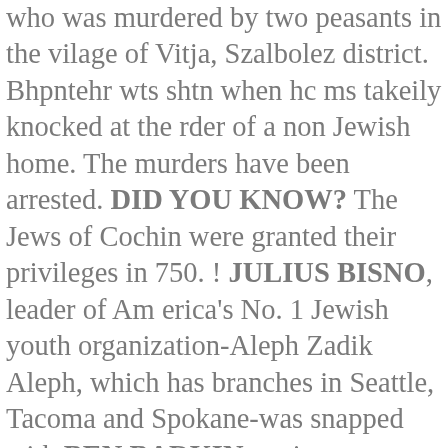who was murdered by two peasants in the village of Vitja, Szabolez district. Bhpntehr wts shtn when hc ms- takeily knocked at the rder of a non- Jewish home. The murders have been arrested. DID YOU KNOW? The Jews of Cochin were granted their privileges in 750. ! JULIUS BISNO, leader of Am- erica's No. 1 Jewish youth organization-Aleph Zadik Aleph, which has branches in Seattle, Tacoma and Spokane-was snapped with BEN BARKIN, assistant execu- tive secretary of A. Z. A., as they left the Omaha headquarters of the international junior B'nai B'rith organization for the last time. Young, liberal-minded Mr. Bisno is executive secretary of A. Z. A. Headquarters of the organization have been moved to Washington, D. C., where all B'nai B'rith offices are now located as part of a program of 'more effici- ent administration.' Since its founding 14 years ago, A. Z. A. has been located in Omaha, native city of Sam Beber, president of A. Z. A.'s Supreme Advisory Coun- cil and founder of the order. First Rabbi's Court In 400 Years Is Set Up BARCELONA (W.N.S)-- Spain's first rabbinical court since the ex- pulsion of the Jews in 1492 was es- tablished this week by the Barcelona Jewish community in re- sponse to a request from the rabbinical court in Jerusalem. Dr. Conat, former